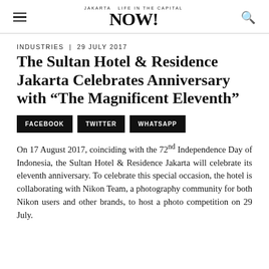Jakarta NOW!
INDUSTRIES | 29 July 2017
The Sultan Hotel & Residence Jakarta Celebrates Anniversary with “The Magnificent Eleventh”
FACEBOOK  TWITTER  WHATSAPP
On 17 August 2017, coinciding with the 72nd Independence Day of Indonesia, the Sultan Hotel & Residence Jakarta will celebrate its eleventh anniversary. To celebrate this special occasion, the hotel is collaborating with Nikon Team, a photography community for both Nikon users and other brands, to host a photo competition on 29 July.